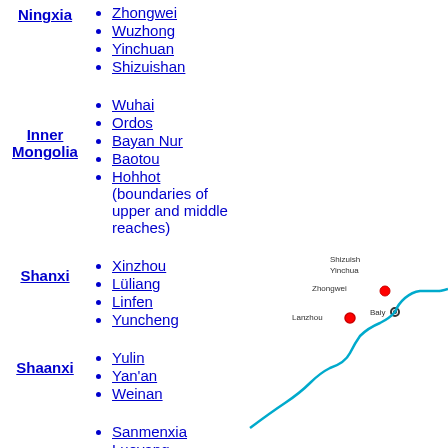Ningxia
Zhongwei
Wuzhong
Yinchuan
Shizuishan
Inner Mongolia
Wuhai
Ordos
Bayan Nur
Baotou
Hohhot (boundaries of upper and middle reaches)
Shanxi
Xinzhou
Lüliang
Linfen
Yuncheng
Shaanxi
Yulin
Yan'an
Weinan
Sanmenxia
Luoyang
[Figure (map): Partial map of Yellow River region showing cities including Shizuishan, Yinchuan, Zhongwei, Lanzhou, and Baiyin with river path in cyan/blue]